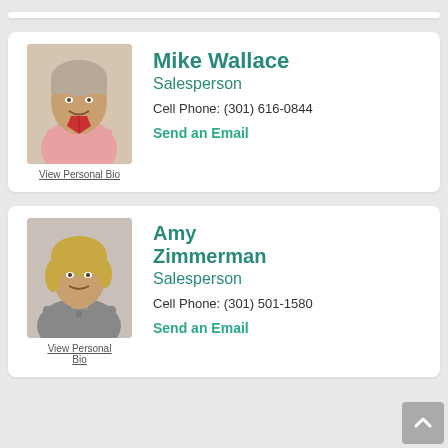[Figure (photo): Photo of Mike Wallace, middle-aged man in pink/red polo shirt, smiling]
View Personal Bio
Mike Wallace
Salesperson
Cell Phone: (301) 616-0844
Send an Email
[Figure (photo): Photo of Amy Zimmerman, woman with short blonde/brown hair, wearing grey top with necklace]
View Personal Bio
Amy Zimmerman
Salesperson
Cell Phone: (301) 501-1580
Send an Email